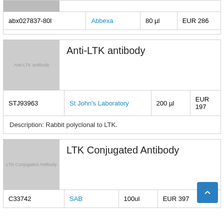| Product ID | Supplier | Volume | Price |
| --- | --- | --- | --- |
| abx027837-80l | Abbexa | 80 µl | EUR 286 |
[Figure (photo): Anti-LTK antibody product image placeholder]
Anti-LTK antibody
| Product ID | Supplier | Volume | Price |
| --- | --- | --- | --- |
| STJ93963 | St John's Laboratory | 200 µl | EUR 197 |
Description: Rabbit polyclonal to LTK.
[Figure (photo): LTK Conjugated Antibody product image placeholder]
LTK Conjugated Antibody
| Product ID | Supplier | Volume | Price |
| --- | --- | --- | --- |
| C33742 | SAB | 100ul | EUR 397 |